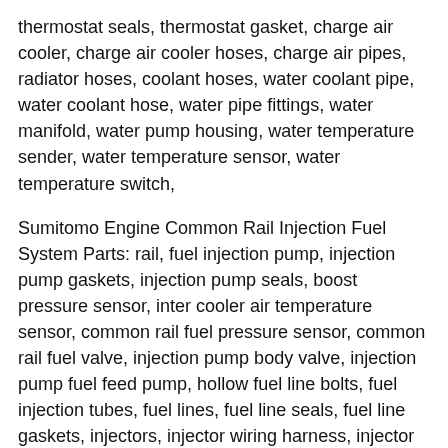thermostat seals, thermostat gasket, charge air cooler, charge air cooler hoses, charge air pipes, radiator hoses, coolant hoses, water coolant pipe, water coolant hose, water pipe fittings, water manifold, water pump housing, water temperature sender, water temperature sensor, water temperature switch,
Sumitomo Engine Common Rail Injection Fuel System Parts: rail, fuel injection pump, injection pump gaskets, injection pump seals, boost pressure sensor, inter cooler air temperature sensor, common rail fuel pressure sensor, common rail fuel valve, injection pump body valve, injection pump fuel feed pump, hollow fuel line bolts, fuel injection tubes, fuel lines, fuel line seals, fuel line gaskets, injectors, injector wiring harness, injector seals, injector orings, rocker case injection tube seals, fuel injector bridge clamp, fuel injection tube bushing, injection pump to rail injection tube, injector lines, fuel injection rail assembly, fuel return lines, fuel return hollow bolts, fuel